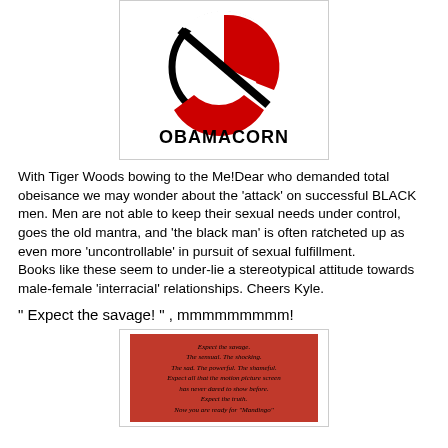[Figure (illustration): A circular 'no' symbol (ghostbusters-style red slash over red and white swoosh design) with the word OBAMACORN below in bold black text, on a white background with a light border.]
With Tiger Woods bowing to the Me!Dear who demanded total obeisance we may wonder about the 'attack' on successful BLACK men. Men are not able to keep their sexual needs under control, goes the old mantra, and 'the black man' is often ratcheted up as even more 'uncontrollable' in pursuit of sexual fulfillment. Books like these seem to under-lie a stereotypical attitude towards male-female 'interracial' relationships. Cheers Kyle.
" Expect the savage! " , mmmmmmmmm!
[Figure (photo): A red book cover with small black italic text reading: Expect the savage. The sensual. The shocking. The sad. The powerful. The shameful. Expect all that the motion picture screen has never dared to show before. Expect the truth. Now you are ready for "Mandingo"]